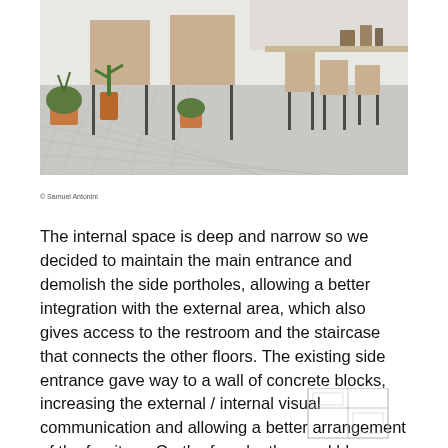[Figure (photo): Interior view of a café or restaurant space with high tables and bar stools, concrete floor with grid pattern, plants in terracotta pots, metal-framed furniture with wooden tops, and a long shelf along the wall.]
© Samuel Antonini
The internal space is deep and narrow so we decided to maintain the main entrance and demolish the side portholes, allowing a better integration with the external area, which also gives access to the restroom and the staircase that connects the other floors. The existing side entrance gave way to a wall of concrete blocks, increasing the external / internal visual communication and allowing a better arrangement of the furniture. On the façade, the royal blue painting gained new dress, now half gray, half white.
[Figure (engineering-diagram): Partial floor plan or architectural diagram visible at bottom right corner of page.]